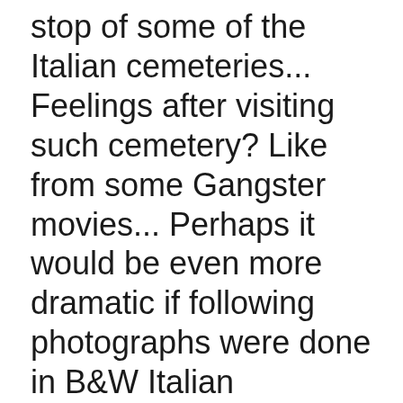stop of some of the Italian cemeteries... Feelings after visiting such cemetery? Like from some Gangster movies... Perhaps it would be even more dramatic if following photographs were done in B&W Italian cemetery  Ferrari family At Italian cemetery At Italian cemetery
Enjoying narrow Italian roads and Dancing Waltz in Town Square
Enjoying narrow Italian roads and Dancing Waltz in Town Square
Published: seen 152